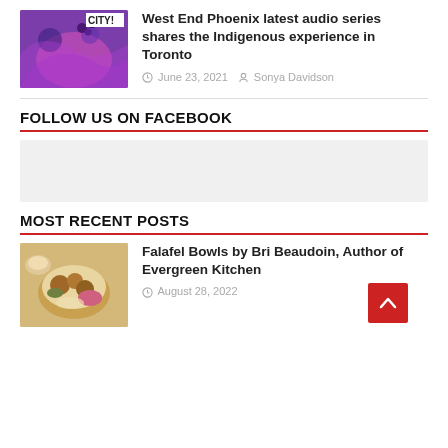[Figure (photo): Thumbnail image with CITY text on purple/pink illustrated background]
West End Phoenix latest audio series shares the Indigenous experience in Toronto
June 23, 2021  Sonya Davidson
FOLLOW US ON FACEBOOK
[Figure (other): Facebook widget placeholder (gray box)]
MOST RECENT POSTS
[Figure (photo): Thumbnail of falafel bowls food photo]
Falafel Bowls by Bri Beaudoin, Author of Evergreen Kitchen
August 28, 2022